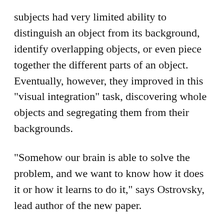subjects had very limited ability to distinguish an object from its background, identify overlapping objects, or even piece together the different parts of an object. Eventually, however, they improved in this "visual integration" task, discovering whole objects and segregating them from their backgrounds.
"Somehow our brain is able to solve the problem, and we want to know how it does it or how it learns to do it," says Ostrovsky, lead author of the new paper.
'Many different pieces'
One of their subjects, known as S.K., suffered from a rare condition called secondary congenital aphakia (a lack of lenses in the eye) and was treated with